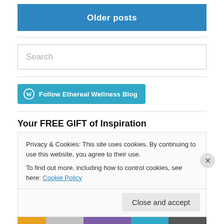Older posts
Search
[Figure (other): Follow Ethereal Wellness Blog button with WordPress icon]
Your FREE GIFT of Inspiration
Privacy & Cookies: This site uses cookies. By continuing to use this website, you agree to their use.
To find out more, including how to control cookies, see here: Cookie Policy
Close and accept